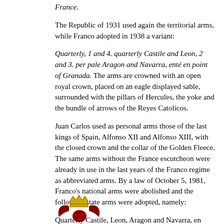France.
The Republic of 1931 used again the territorial arms, while Franco adopted in 1938 a variant:
Quarterly, 1 and 4. quarterly Castile and Leon, 2 and 3. per pale Aragon and Navarra, enté en point of Granada. The arms are crowned with an open royal crown, placed on an eagle displayed sable, surrounded with the pillars of Hercules, the yoke and the bundle of arrows of the Reyes Catolicos.
Juan Carlos used as personal arms those of the last kings of Spain, Alfonso XII and Alfonso XIII, with the closed crown and the collar of the Golden Fleece. The same arms without the France escutcheon were already in use in the last years of the Franco regime as abbreviated arms. By a law of October 5, 1981, Franco's national arms were abolished and the following state arms were adopted, namely:
Quarterly Castile, Leon, Aragon and Navarra, en surtout Anjou (France with a bordure gules). Closed crown, pillars of Hercules.
[Figure (illustration): Partial view of a coat of arms illustration at the bottom of the page, showing a crown and heraldic elements in red and gold.]